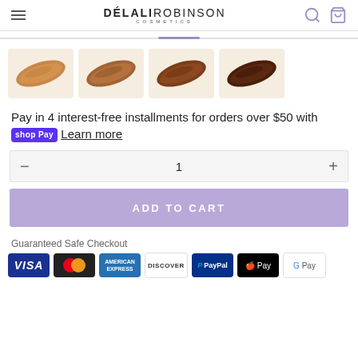DÉLALI ROBINSON COSMETICS
[Figure (photo): Four cosmetic products (lip liners or similar) in varying shades from light caramel to dark brown, shown as thumbnail images side by side.]
Pay in 4 interest-free installments for orders over $50 with shop Pay Learn more
1
ADD TO CART
Guaranteed Safe Checkout
[Figure (infographic): Payment method icons: VISA, Mastercard, American Express, Discover, PayPal, Apple Pay, Google Pay]